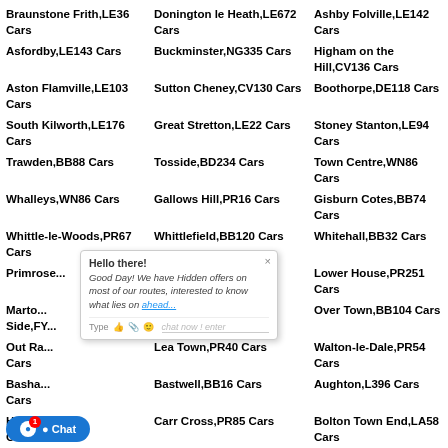Braunstone Frith,LE36 Cars
Donington le Heath,LE672 Cars
Ashby Folville,LE142 Cars
Asfordby,LE143 Cars
Buckminster,NG335 Cars
Higham on the Hill,CV136 Cars
Aston Flamville,LE103 Cars
Sutton Cheney,CV130 Cars
Boothorpe,DE118 Cars
South Kilworth,LE176 Cars
Great Stretton,LE22 Cars
Stoney Stanton,LE94 Cars
Trawden,BB88 Cars
Tosside,BD234 Cars
Town Centre,WN86 Cars
Whalleys,WN86 Cars
Gallows Hill,PR16 Cars
Gisburn Cotes,BB74 Cars
Whittle-le-Woods,PR67 Cars
Whittlefield,BB120 Cars
Whitehall,BB32 Cars
Primrose (partial)
Skippool,FY55 Cars
Lower House,PR251 Cars
Marto... Side,FY...
Hey Head,BB49 Cars
Over Town,BB104 Cars
Out Ra... Cars
Lea Town,PR40 Cars
Walton-le-Dale,PR54 Cars
Basha... Cars
Bastwell,BB16 Cars
Aughton,L396 Cars
H...en,PR75 Cars
Carr Cross,PR85 Cars
Bolton Town End,LA58 Cars